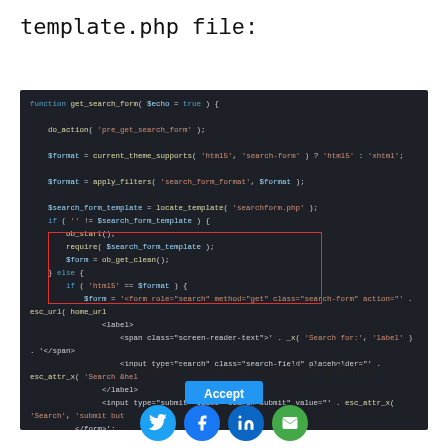template.php file:
[Figure (screenshot): Dark-themed code editor screenshot showing PHP function get_search_form with a red rectangle highlighting the if block with ob_start, require, and ob_get_clean calls]
By using UsableWP, you agree to our Cookie Policy.
[Figure (other): Accept button and social media icons: Twitter, Facebook, LinkedIn, Email]